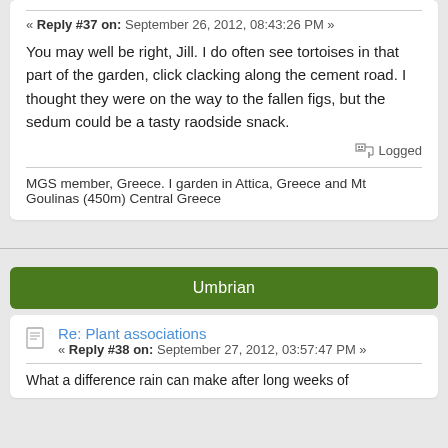« Reply #37 on: September 26, 2012, 08:43:26 PM »
You may well be right, Jill. I do often see tortoises in that part of the garden, click clacking along the cement road. I thought they were on the way to the fallen figs, but the sedum could be a tasty raodside snack.
Logged
MGS member, Greece. I garden in Attica, Greece and Mt Goulinas (450m) Central Greece
Umbrian
Re: Plant associations
« Reply #38 on: September 27, 2012, 03:57:47 PM »
What a difference rain can make after long weeks of